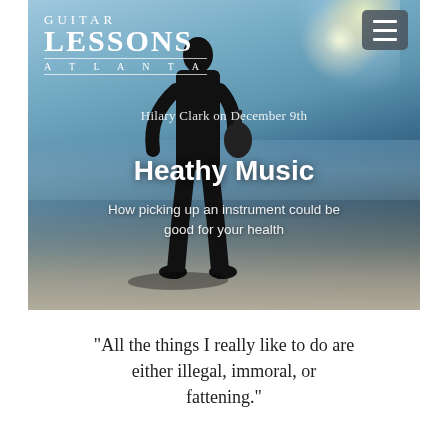[Figure (photo): Hero banner image of a person standing on a beach holding a guitar, silhouetted against a bright sky with sun flare, overlaid with Guitar Lessons Atlanta logo and article headline text.]
GUITAR LESSONS ATLANTA
Hilary Clark on December 9th
Heathy Music
How picking up an instrument could be good for your health
"All the things I really like to do are either illegal, immoral, or fattening."